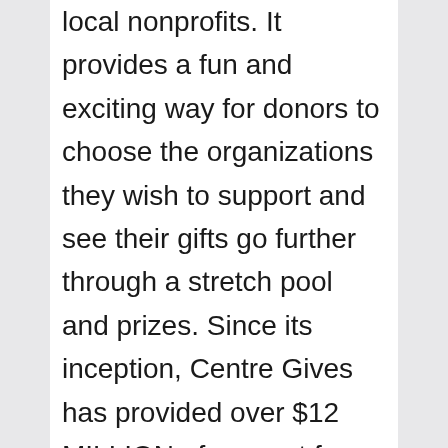local nonprofits. It provides a fun and exciting way for donors to choose the organizations they wish to support and see their gifts go further through a stretch pool and prizes. Since its inception, Centre Gives has provided over $12 MILLION of support for the community! It has benefited over 190 local organizations with missions across all interest areas, including health and human services, arts, education, animals, and the environment.